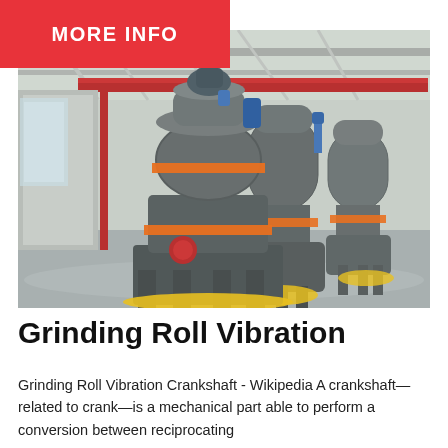MORE INFO
[Figure (photo): Industrial grinding roll mills in a large factory/warehouse setting. Three large cylindrical vertical grinding machines with grey metal bodies, orange accent rings, mounted on heavy-duty frames with yellow painted floor markings. Industrial overhead crane structure visible in background.]
Grinding Roll Vibration
Grinding Roll Vibration Crankshaft - Wikipedia A crankshaft—related to crank—is a mechanical part able to perform a conversion between reciprocating